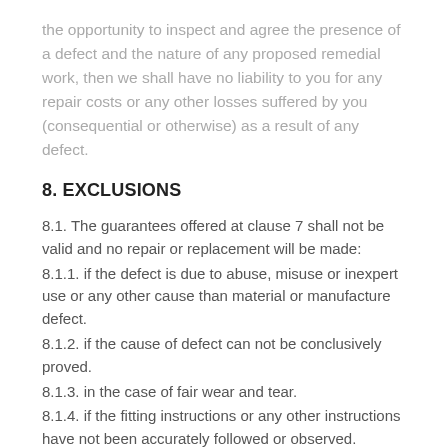the opportunity to inspect and agree the presence of a defect and the nature of any proposed remedial work, then we shall have no liability to you for any repair costs or any other losses suffered by you (consequential or otherwise) as a result of any defect.
8. EXCLUSIONS
8.1. The guarantees offered at clause 7 shall not be valid and no repair or replacement will be made:
8.1.1. if the defect is due to abuse, misuse or inexpert use or any other cause than material or manufacture defect.
8.1.2. if the cause of defect can not be conclusively proved.
8.1.3. in the case of fair wear and tear.
8.1.4. if the fitting instructions or any other instructions have not been accurately followed or observed.